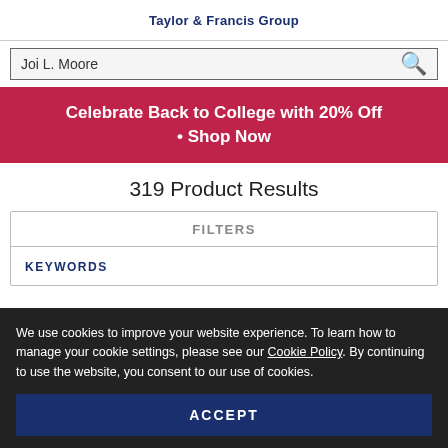Taylor & Francis Group
Joi L. Moore
Celebrate Back to College with 20% Off • Shop Now
319 Product Results
FILTERS
KEYWORDS
We use cookies to improve your website experience. To learn how to manage your cookie settings, please see our Cookie Policy. By continuing to use the website, you consent to our use of cookies.
ACCEPT